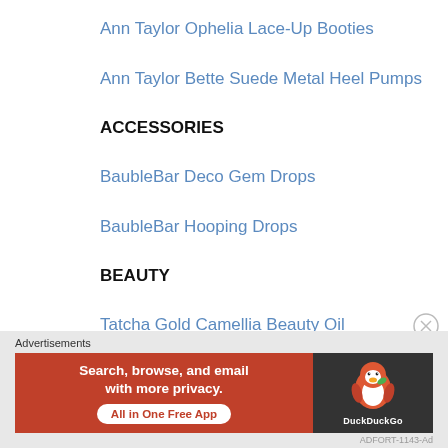Ann Taylor Ophelia Lace-Up Booties
Ann Taylor Bette Suede Metal Heel Pumps
ACCESSORIES
BaubleBar Deco Gem Drops
BaubleBar Hooping Drops
BEAUTY
Tatcha Gold Camellia Beauty Oil
Tata Harper Resurfacing Mask
[Figure (screenshot): DuckDuckGo advertisement banner with orange left side reading 'Search, browse, and email with more privacy. All in One Free App' and dark right side with DuckDuckGo duck logo and brand name]
Advertisements
ADFORT-1143-Ad